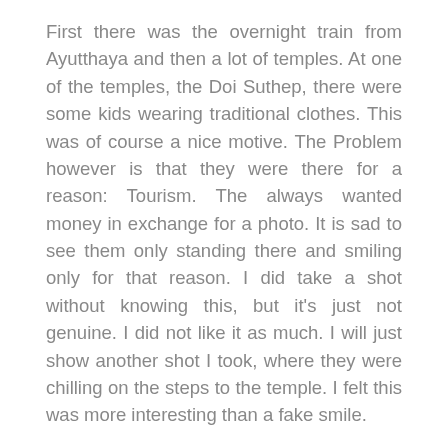First there was the overnight train from Ayutthaya and then a lot of temples. At one of the temples, the Doi Suthep, there were some kids wearing traditional clothes. This was of course a nice motive. The Problem however is that they were there for a reason: Tourism. The always wanted money in exchange for a photo. It is sad to see them only standing there and smiling only for that reason. I did take a shot without knowing this, but it's just not genuine. I did not like it as much. I will just show another shot I took, where they were chilling on the steps to the temple. I felt this was more interesting than a fake smile.
In Chiang Mai I strolled around a lot and found a great hotel, where you had to go through a nice hallway with pictures on the walls. It was a bit curved, which build nice lines. Another nice place was the Wat Chedi Luang, which was one of the most beautiful temples I've seen in Thailand. There were also monks who sang a song and